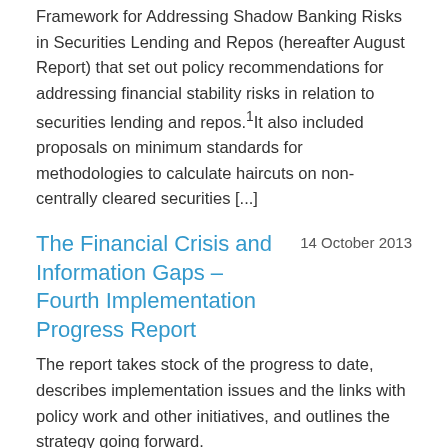Framework for Addressing Shadow Banking Risks in Securities Lending and Repos (hereafter August Report) that set out policy recommendations for addressing financial stability risks in relation to securities lending and repos.1It also included proposals on minimum standards for methodologies to calculate haircuts on non-centrally cleared securities [...]
The Financial Crisis and Information Gaps – Fourth Implementation Progress Report
14 October 2013
The report takes stock of the progress to date, describes implementation issues and the links with policy work and other initiatives, and outlines the strategy going forward.